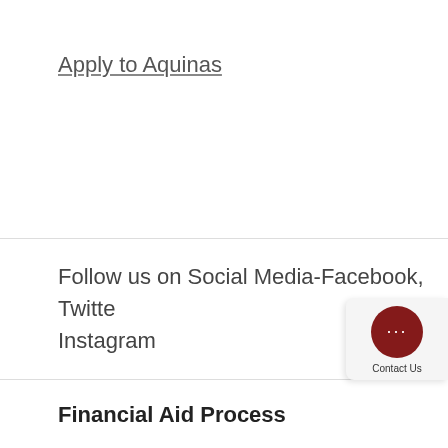Apply to Aquinas
Follow us on Social Media-Facebook, Twitter, Instagram
Financial Aid Process
AQ Cost Calculator (rough estimate)